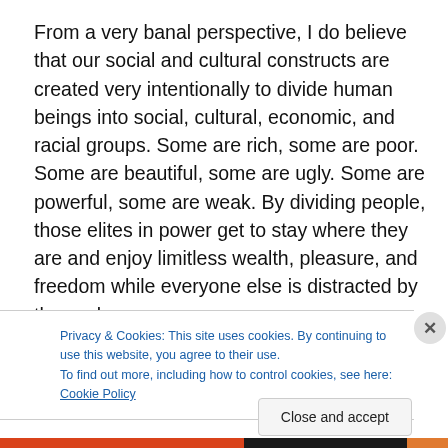From a very banal perspective, I do believe that our social and cultural constructs are created very intentionally to divide human beings into social, cultural, economic, and racial groups. Some are rich, some are poor. Some are beautiful, some are ugly. Some are powerful, some are weak. By dividing people, those elites in power get to stay where they are and enjoy limitless wealth, pleasure, and freedom while everyone else is distracted by these class
Privacy & Cookies: This site uses cookies. By continuing to use this website, you agree to their use.
To find out more, including how to control cookies, see here: Cookie Policy
Close and accept